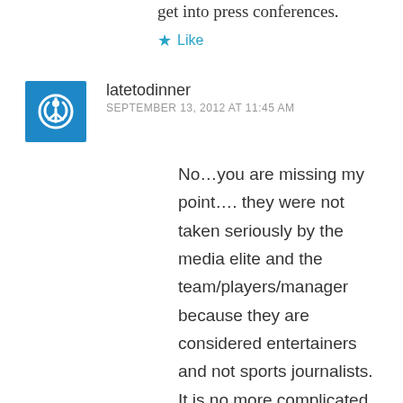get into press conferences.
Like
latetodinner
SEPTEMBER 13, 2012 AT 11:45 AM
No…you are missing my point…. they were not taken seriously by the media elite and the team/players/manager because they are considered entertainers and not sports journalists. It is no more complicated than